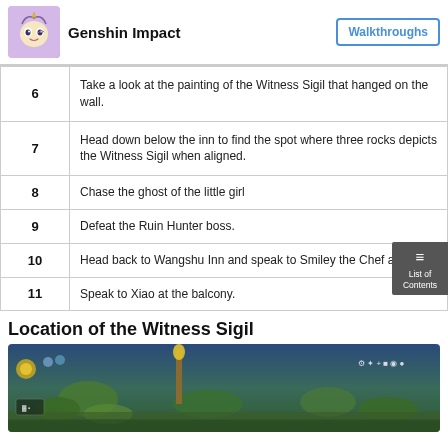Genshin Impact | Walkthroughs
| Step | Description |
| --- | --- |
| 6 | Take a look at the painting of the Witness Sigil that hanged on the wall. |
| 7 | Head down below the inn to find the spot where three rocks depicts the Witness Sigil when aligned. |
| 8 | Chase the ghost of the little girl |
| 9 | Defeat the Ruin Hunter boss. |
| 10 | Head back to Wangshu Inn and speak to Smiley the Chef again. |
| 11 | Speak to Xiao at the balcony. |
Location of the Witness Sigil
[Figure (screenshot): In-game map screenshot showing the location of the Witness Sigil in Genshin Impact, featuring a green landscape with game UI overlay icons.]